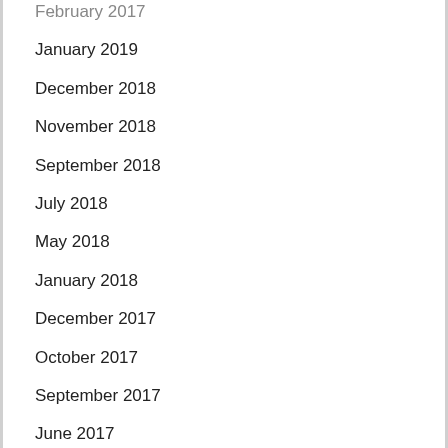February 2017
January 2019
December 2018
November 2018
September 2018
July 2018
May 2018
January 2018
December 2017
October 2017
September 2017
June 2017
April 2017